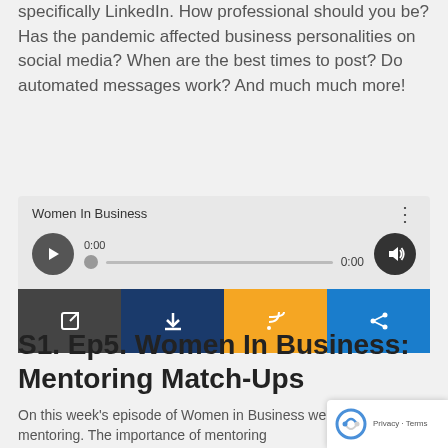specifically LinkedIn. How professional should you be? Has the pandemic affected business personalities on social media? When are the best times to post? Do automated messages work? And much much more!
[Figure (screenshot): Embedded audio player widget for 'Women In Business' podcast with play button, progress bar showing 0:00, volume button, and four action buttons: open externally (dark gray), download (navy blue), RSS feed (orange), and share (blue).]
S1. Ep5. Women In Business: Mentoring Match-Ups
On this week's episode of Women in Business we discussed mentoring. The importance of mentoring